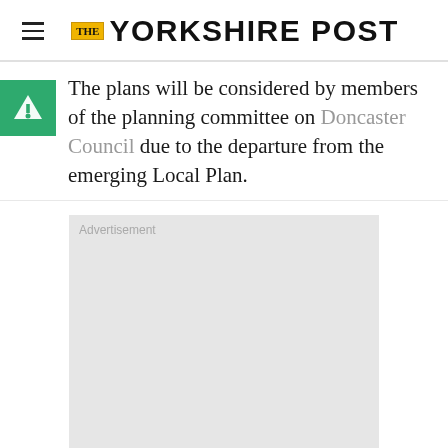The Yorkshire Post
The plans will be considered by members of the planning committee on Doncaster Council due to the departure from the emerging Local Plan.
[Figure (other): Advertisement placeholder box with light grey background and 'Advertisement' label text]